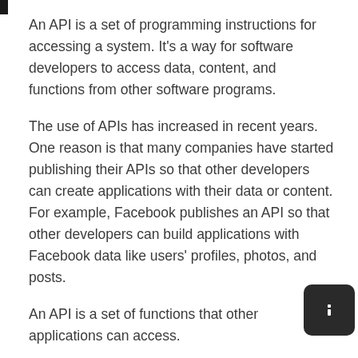An API is a set of programming instructions for accessing a system. It's a way for software developers to access data, content, and functions from other software programs.
The use of APIs has increased in recent years. One reason is that many companies have started publishing their APIs so that other developers can create applications with their data or content. For example, Facebook publishes an API so that other developers can build applications with Facebook data like users' profiles, photos, and posts.
An API is a set of functions that other applications can access.
The design of API is such that it allows developers to add functionality to their applications without knowing the underlying details of how it works.